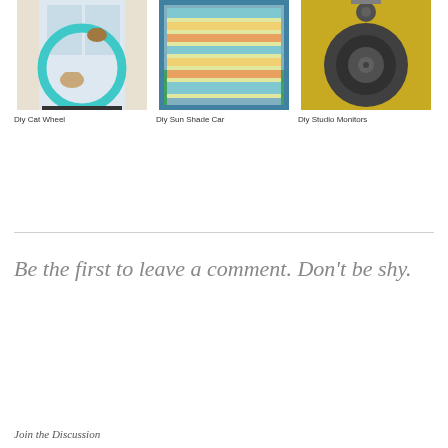[Figure (photo): DIY cat wheel - a cat running on a teal circular wheel with another cat sitting on top, white curtains in background]
Diy Cat Wheel
[Figure (photo): DIY sun shade car - colorful striped sun shade hanging in a car window with greenery visible outside]
Diy Sun Shade Car
[Figure (photo): DIY studio monitors - a large yellow speaker/studio monitor with a black circular woofer]
Diy Studio Monitors
Be the first to leave a comment. Don't be shy.
Join the Discussion